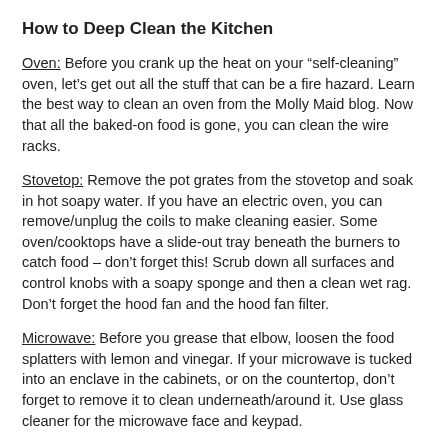How to Deep Clean the Kitchen
Oven: Before you crank up the heat on your “self-cleaning” oven, let’s get out all the stuff that can be a fire hazard. Learn the best way to clean an oven from the Molly Maid blog. Now that all the baked-on food is gone, you can clean the wire racks.
Stovetop: Remove the pot grates from the stovetop and soak in hot soapy water. If you have an electric oven, you can remove/unplug the coils to make cleaning easier. Some oven/cooktops have a slide-out tray beneath the burners to catch food – don’t forget this! Scrub down all surfaces and control knobs with a soapy sponge and then a clean wet rag. Don’t forget the hood fan and the hood fan filter.
Microwave: Before you grease that elbow, loosen the food splatters with lemon and vinegar. If your microwave is tucked into an enclave in the cabinets, or on the countertop, don’t forget to remove it to clean underneath/around it. Use glass cleaner for the microwave face and keypad.